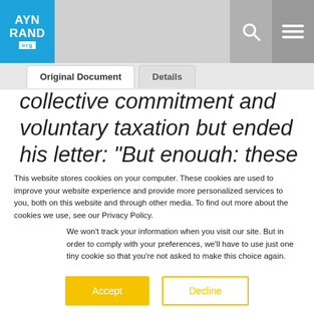AYN RAND org — navigation header with search and menu icons, tabs: Original Document | Details
collective commitment and voluntary taxation but ended his letter: “But enough: these premises and speculations must now fly from their parental nest and support themselves on their own wings. If they are
This website stores cookies on your computer. These cookies are used to improve your website experience and provide more personalized services to you, both on this website and through other media. To find out more about the cookies we use, see our Privacy Policy.
We won’t track your information when you visit our site. But in order to comply with your preferences, we’ll have to use just one tiny cookie so that you’re not asked to make this choice again.
Accept | Decline